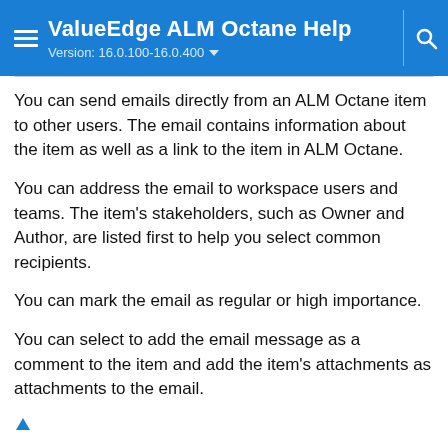ValueEdge ALM Octane Help
Version: 16.0.100-16.0.400
You can send emails directly from an ALM Octane item to other users. The email contains information about the item as well as a link to the item in ALM Octane.
You can address the email to workspace users and teams. The item's stakeholders, such as Owner and Author, are listed first to help you select common recipients.
You can mark the email as regular or high importance.
You can select to add the email message as a comment to the item and add the item's attachments as attachments to the email.